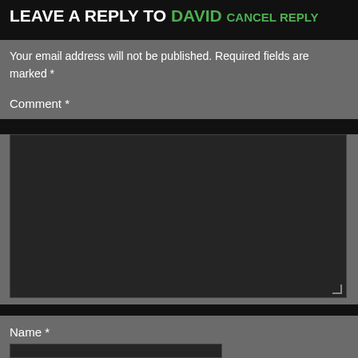LEAVE A REPLY TO DAVID CANCEL REPLY
Your email address will not be published. Required fields are marked *
Comment *
Name *